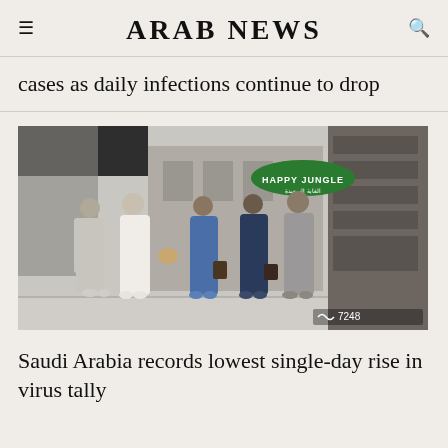ARAB NEWS
cases as daily infections continue to drop
[Figure (photo): People wearing masks and traditional clothing walking outdoors near a shopping area with a 'Happy Jungle' sign visible. Photo credit: 7248]
Saudi Arabia records lowest single-day rise in virus tally